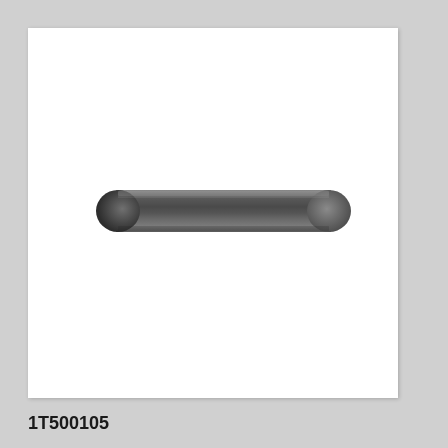[Figure (photo): A cylindrical metal pin or rod (taper pin / roll pin) shown horizontally. The pin is dark grey/gunmetal in color with smooth rounded ends, photographed on a white background.]
1T500105